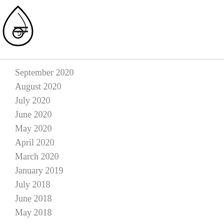[hamburger menu icon] [flame logo]
September 2020
August 2020
July 2020
June 2020
May 2020
April 2020
March 2020
January 2019
July 2018
June 2018
May 2018
October 2017
September 2017
August 2017
July 2017
May 2017
April 2017